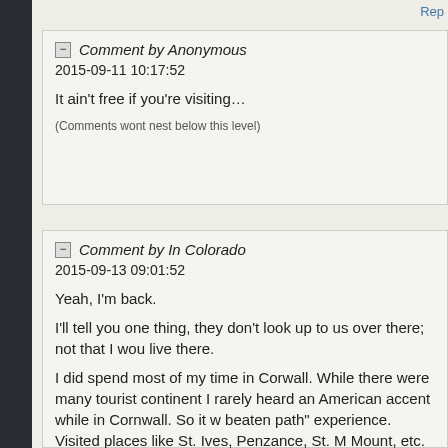Rep
Comment by Anonymous
2015-09-11 10:17:52
It ain't free if you're visiting…
(Comments wont nest below this level)
Comment by In Colorado
2015-09-13 09:01:52
Yeah, I'm back.
I'll tell you one thing, they don't look up to us over there; not that I wou live there.
I did spend most of my time in Corwall. While there were many tourist continent I rarely heard an American accent while in Cornwall. So it w beaten path" experience. Visited places like St. Ives, Penzance, St. M Mount, etc.
I also observed something that most of us here already know: Europe